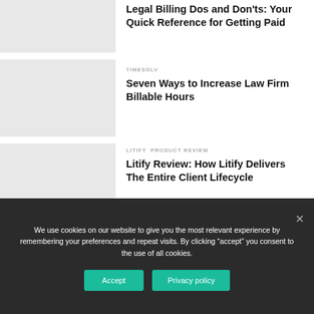Legal Billing Dos and Don'ts: Your Quick Reference for Getting Paid
TIMESOLV
Seven Ways to Increase Law Firm Billable Hours
LITIFY  PRODUCT REVIEW
Litify Review: How Litify Delivers The Entire Client Lifecycle
We use cookies on our website to give you the most relevant experience by remembering your preferences and repeat visits. By clicking “accept” you consent to the use of all cookies.